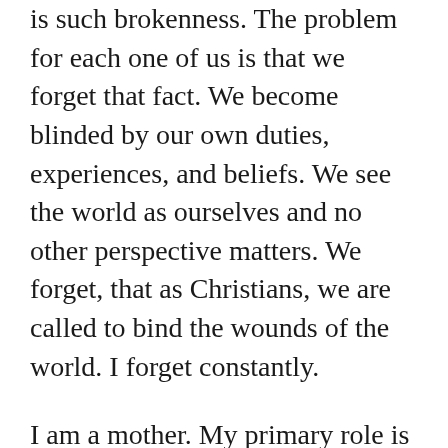is such brokenness.  The problem for each one of us is that we forget that fact.  We become blinded by our own duties, experiences, and beliefs.  We see the world as ourselves and no other perspective matters.  We forget, that as Christians, we are called to bind the wounds of the world.  I forget constantly.
I am a mother.  My primary role is to protect, teach, and care for my child.  How often do I forget that all she yearns for is my love?  My authentic, selfless, and total love.  She was